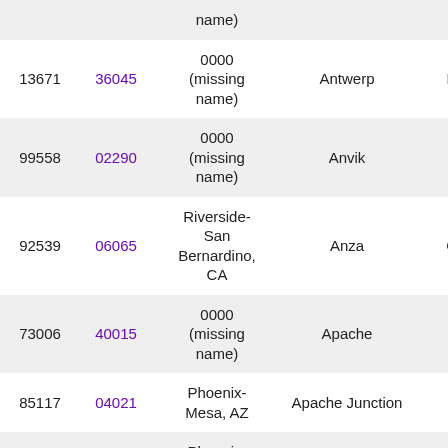| ZIP | FIPS | Metro/Area name | City | State |
| --- | --- | --- | --- | --- |
|  |  | name) |  |  |
| 13671 | 36045 | 0000 (missing name) | Antwerp | New Yo... |
| 99558 | 02290 | 0000 (missing name) | Anvik | Alaska... |
| 92539 | 06065 | Riverside-San Bernardino, CA | Anza | Californ... |
| 73006 | 40015 | 0000 (missing name) | Apache | Oklaho... |
| 85117 | 04021 | Phoenix-Mesa, AZ | Apache Junction | Arizon... |
| 85119 | 04021 | Phoenix-Mesa, AZ | Apache Junction | Arizon... |
| 85120 | 04021 | Phoenix-Mesa, AZ | Apache Junction | Arizon... |
| 85178 | 04021 | Phoenix-Mesa, AZ | Apache Junction | Arizon... |
|  |  | Phoenix- |  |  |